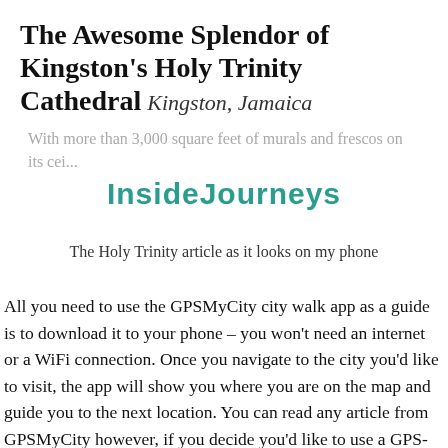The Awesome Splendor of Kingston's Holy Trinity Cathedral Kingston, Jamaica
With more than 3,000 square feet of murals and frescos on its cei...
[Figure (other): InsideJourneys watermark/logo text overlaid on the article preview]
The Holy Trinity article as it looks on my phone
All you need to use the GPSMyCity city walk app as a guide is to download it to your phone – you won't need an internet or a WiFi connection. Once you navigate to the city you'd like to visit, the app will show you where you are on the map and guide you to the next location. You can read any article from GPSMyCity however, if you decide you'd like to use a GPS-guided feature, you'll need to pay $1.99 to upgrade. That's less than a cup of coffee!